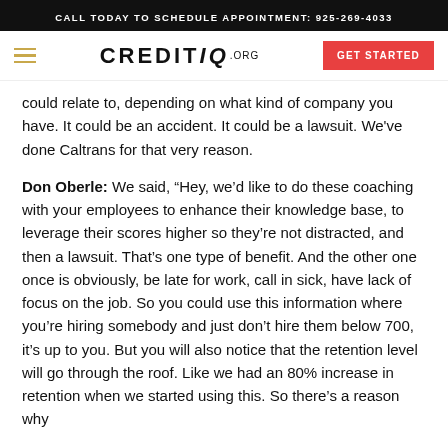CALL TODAY TO SCHEDULE APPOINTMENT: 925-269-4033
[Figure (logo): CreditiQ.org logo with hamburger menu and GET STARTED button]
could relate to, depending on what kind of company you have. It could be an accident. It could be a lawsuit. We've done Caltrans for that very reason.
Don Oberle: We said, “Hey, we’d like to do these coaching with your employees to enhance their knowledge base, to leverage their scores higher so they’re not distracted, and then a lawsuit. That’s one type of benefit. And the other one once is obviously, be late for work, call in sick, have lack of focus on the job. So you could use this information where you’re hiring somebody and just don’t hire them below 700, it’s up to you. But you will also notice that the retention level will go through the roof. Like we had an 80% increase in retention when we started using this. So there’s a reason why